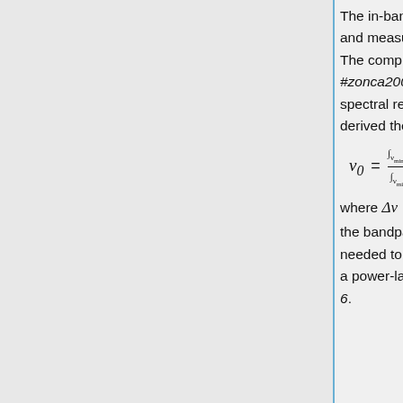The in-band receiver response has been thoroughly modelled and measured for all the LFI detectors during ground tests. The complete set of bandpass curves has been published in #zonca2009 where all the details of the LFI radiometer's spectral response are given. From each curve we have derived the effective centre frequency according to:
where Δν = ν_max − ν_min is the receiver bandwidth and g(ν) is the bandpass response. Details about colour corrections, C(α), needed to derive the brightness temperature of a source with a power-law spectral index α, are provided in #planck2011-1-6.